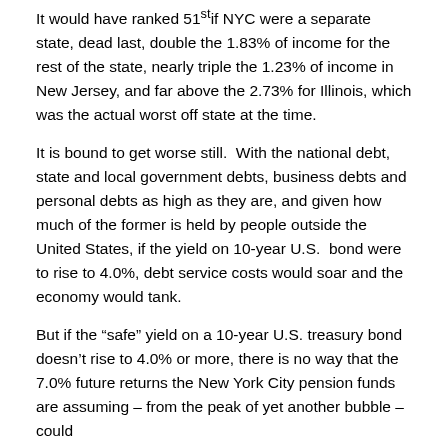It would have ranked 51st if NYC were a separate state, dead last, double the 1.83% of income for the rest of the state, nearly triple the 1.23% of income in New Jersey, and far above the 2.73% for Illinois, which was the actual worst off state at the time.
It is bound to get worse still. With the national debt, state and local government debts, business debts and personal debts as high as they are, and given how much of the former is held by people outside the United States, if the yield on 10-year U.S. bond were to rise to 4.0%, debt service costs would soar and the economy would tank.
But if the “safe” yield on a 10-year U.S. treasury bond doesn’t rise to 4.0% or more, there is no way that the 7.0% future returns the New York City pension funds are assuming – from the peak of yet another bubble – could